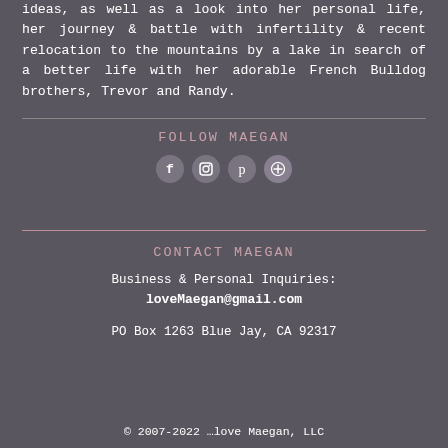ideas, as well as a look into her personal life, her journey & battle with infertility & recent relocation to the mountains by a lake in search of a better life with her adorable French Bulldog brothers, Trevor and Randy.
FOLLOW MAEGAN
[Figure (infographic): Social media icons: Facebook (f), Instagram (camera), Pinterest (p), Google+ (plus circle)]
CONTACT MAEGAN
Business & Personal Inquiries:
loveMaegan@gmail.com
PO Box 1263 Blue Jay, CA 92317
© 2007-2022 ...love Maegan, LLC